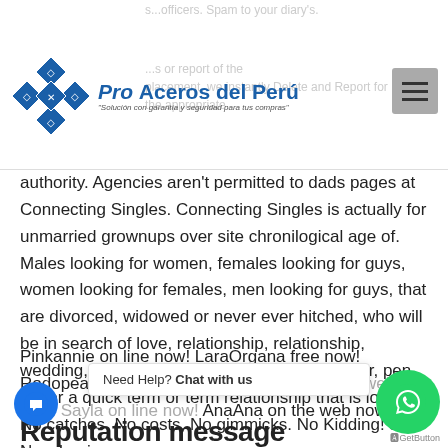Pro Aceros del Perú — Solución con garantía y seguridad para tus compras
authority. Agencies aren't permitted to dads pages at Connecting Singles. Connecting Singles is actually for unmarried grownups over site chronilogical age of. Males looking for women, females looking for guys, women looking for females, men looking for guys, that are divorced, widowed or never ever hitched, who will be in search of love, relationship, relationship, wedding, internet dating; true love, task partner, pen for, or a quick term or term relationship that is long. No catches, No costs, No gimmicks. No Kidding! Join Now Login.
Pinkannie on line now! LaraOrgana free now! Rodopea on the web now! Moonwalks on the web now! Sayla on line now! AnaAna on the web now!
Reputation message